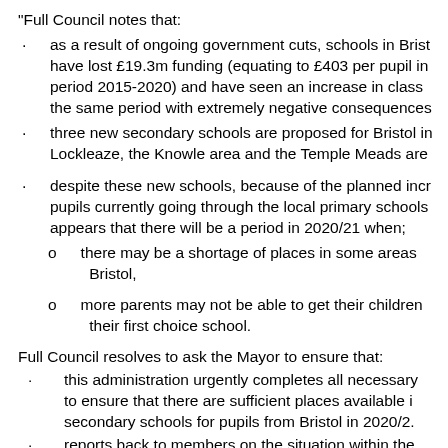“Full Council notes that:
as a result of ongoing government cuts, schools in Bristol have lost £19.3m funding (equating to £403 per pupil in period 2015-2020) and have seen an increase in class the same period with extremely negative consequences
three new secondary schools are proposed for Bristol in Lockleaze, the Knowle area and the Temple Meads are
despite these new schools, because of the planned incr pupils currently going through the local primary schools appears that there will be a period in 2020/21 when;
there may be a shortage of places in some areas Bristol,
more parents may not be able to get their children their first choice school.
Full Council resolves to ask the Mayor to ensure that:
this administration urgently completes all necessary to ensure that there are sufficient places available i secondary schools for pupils from Bristol in 2020/2.
reports back to members on the situation within the months and at regular intervals thereafter.”